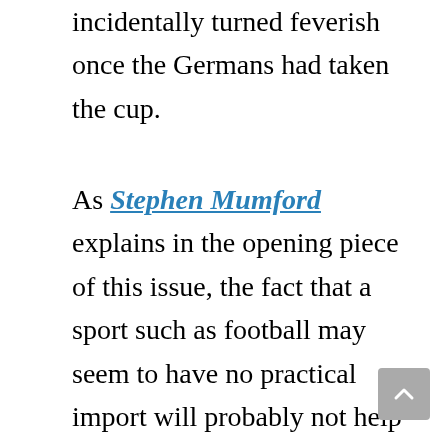incidentally turned feverish once the Germans had taken the cup.
As Stephen Mumford explains in the opening piece of this issue, the fact that a sport such as football may seem to have no practical import will probably not help to endear it to those who see its powerful capture of the world’s attention, as an asinine trivialization of more serious and deserving problems such as the high infant death toll in Gaza. Mumford is in